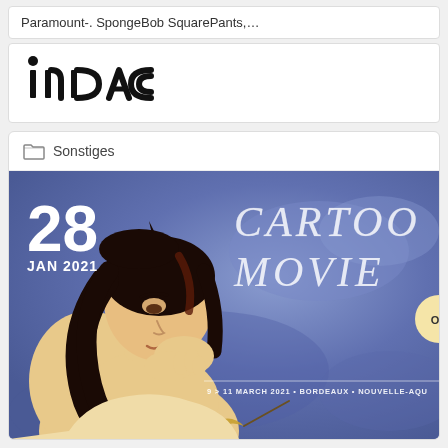Paramount-. SpongeBob SquarePants,...
[Figure (logo): INDAC logo in bold black text with stylized lettering]
Sonstiges
[Figure (illustration): Cartoon Movie 2021 event promotional image. Shows an illustrated woman with dark hair resting her chin on her hand, looking contemplative, against a blue/purple watercolor background. Large white hand-lettered text reads 'CARTOON MOVIE' on the right. Date overlay shows '28 JAN 2021'. Bottom text reads '9 > 11 MARCH 2021 • BORDEAUX • NOUVELLE-AQU...' with an 'ON' badge.]